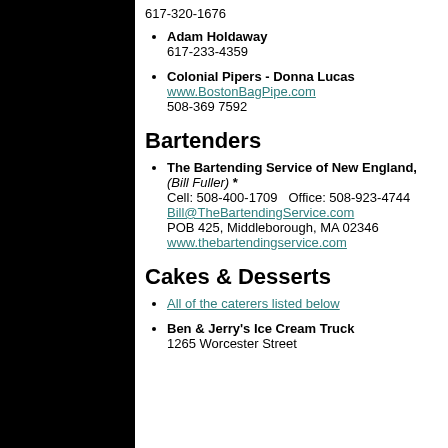617-320-1676
Adam Holdaway
617-233-4359
Colonial Pipers - Donna Lucas
www.BostonBagPipe.com
508-369 7592
Bartenders
The Bartending Service of New England, (Bill Fuller) *
Cell: 508-400-1709   Office: 508-923-4744
Bill@TheBartendingService.com
POB 425, Middleborough, MA 02346
www.thebartendingservice.com
Cakes & Desserts
All of the caterers listed below
Ben & Jerry's Ice Cream Truck
1265 Worcester Street